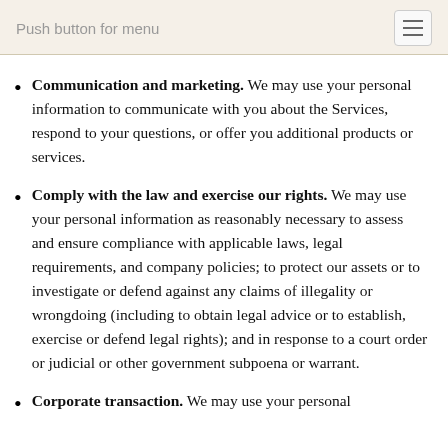Push button for menu
Communication and marketing. We may use your personal information to communicate with you about the Services, respond to your questions, or offer you additional products or services.
Comply with the law and exercise our rights. We may use your personal information as reasonably necessary to assess and ensure compliance with applicable laws, legal requirements, and company policies; to protect our assets or to investigate or defend against any claims of illegality or wrongdoing (including to obtain legal advice or to establish, exercise or defend legal rights); and in response to a court order or judicial or other government subpoena or warrant.
Corporate transaction. We may use your personal